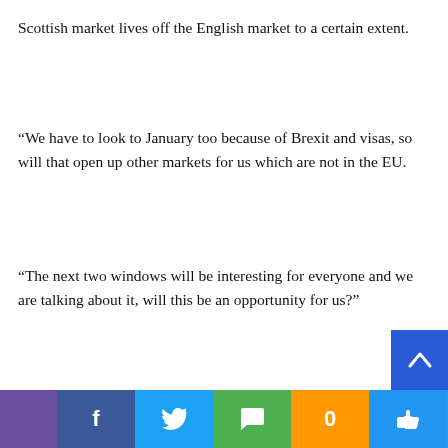Scottish market lives off the English market to a certain extent.
“We have to look to January too because of Brexit and visas, so will that open up other markets for us which are not in the EU.
“The next two windows will be interesting for everyone and we are talking about it, will this be an opportunity for us?”
“So off the back of that we will look to make signings when we find out when the supporters will be allowed in again.
“We have a strong squad at the moment and if we have to go with what we have, I’d be delighted